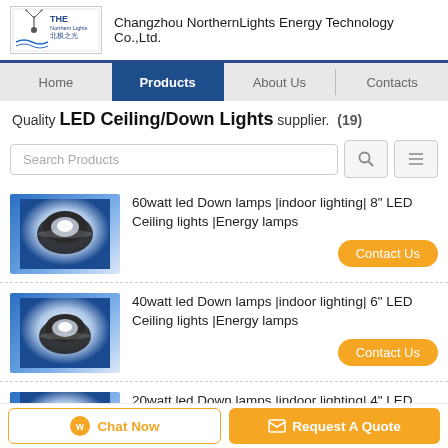Changzhou NorthernLights Energy Technology Co.,Ltd.
Home | Products | About Us | Contacts
Quality LED Ceiling/Down Lights supplier. (19)
Search Products
60watt led Down lamps |indoor lighting| 8" LED Ceiling lights |Energy lamps
40watt led Down lamps |indoor lighting| 6" LED Ceiling lights |Energy lamps
20watt led Down lamps |indoor lighting| 4" LED Ceiling lights |Energy lamps
Chat Now | Request A Quote